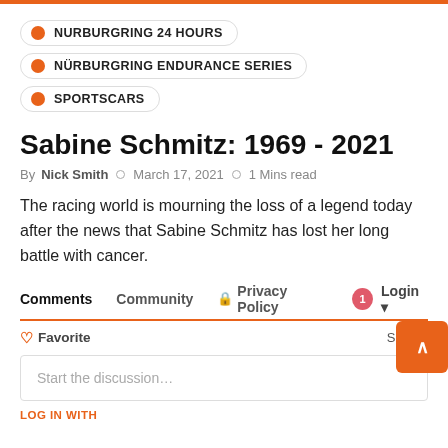NURBURGRING 24 HOURS
NÜRBURGRING ENDURANCE SERIES
SPORTSCARS
Sabine Schmitz: 1969 - 2021
By Nick Smith  ○  March 17, 2021  ○  1 Mins read
The racing world is mourning the loss of a legend today after the news that Sabine Schmitz has lost her long battle with cancer.
Comments  Community  🔒 Privacy Policy  1 Login
♡ Favorite  Sort by
Start the discussion…
LOG IN WITH